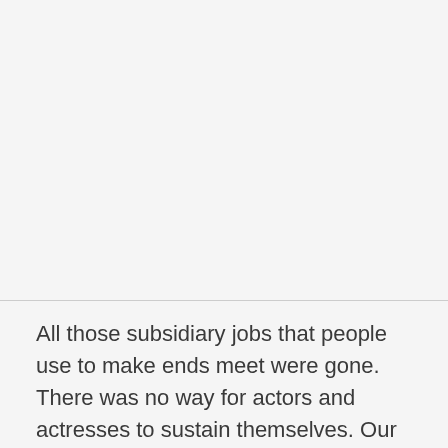All those subsidiary jobs that people use to make ends meet were gone. There was no way for actors and actresses to sustain themselves. Our mission was that we knew we had to do something to give them a sense